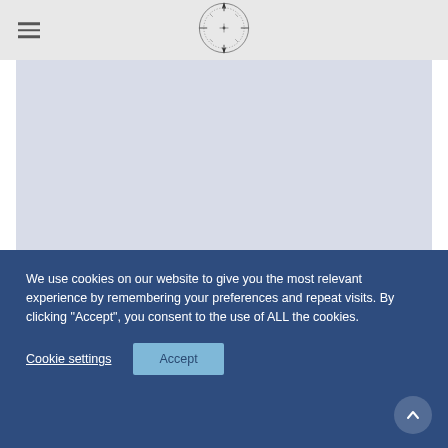[Figure (logo): Compass rose / navigation logo centered in the top navigation bar]
[Figure (photo): Blurred/placeholder main content image area with light blue-grey background]
We use cookies on our website to give you the most relevant experience by remembering your preferences and repeat visits. By clicking “Accept”, you consent to the use of ALL the cookies.
Cookie settings
Accept